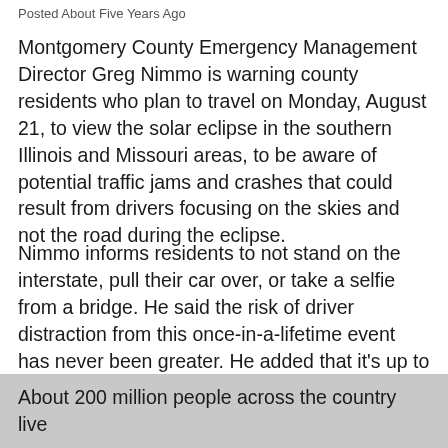Posted About Five Years Ago
Montgomery County Emergency Management Director Greg Nimmo is warning county residents who plan to travel on Monday, August 21, to view the solar eclipse in the southern Illinois and Missouri areas, to be aware of potential traffic jams and crashes that could result from drivers focusing on the skies and not the road during the eclipse.
Nimmo informs residents to not stand on the interstate, pull their car over, or take a selfie from a bridge. He said the risk of driver distraction from this once-in-a-lifetime event has never been greater. He added that it's up to local residents and visitors to follow common sense rules to stay safe, and that the eclipse is clearly a transportation issue.
About 200 million people across the country live